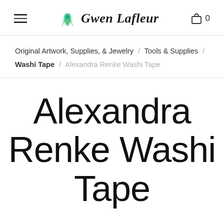Gwen Lafleur — navigation header with hamburger menu and cart icon (0 items)
Original Artwork, Supplies, & Jewelry / Tools & Supplies / Washi Tape / Alexandra Renke Washi Tape
Alexandra Renke Washi Tape